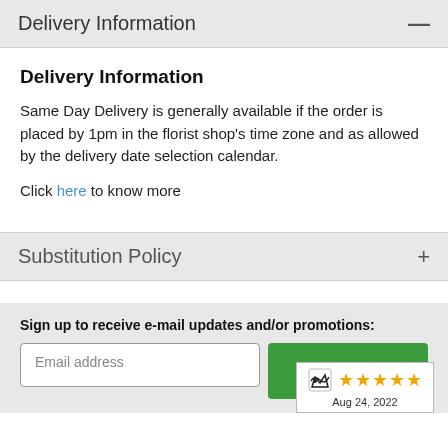Delivery Information
Delivery Information
Same Day Delivery is generally available if the order is placed by 1pm in the florist shop's time zone and as allowed by the delivery date selection calendar.
Click here to know more
Substitution Policy
Sign up to receive e-mail updates and/or promotions:
Email address
SUBMIT
Aug 24, 2022